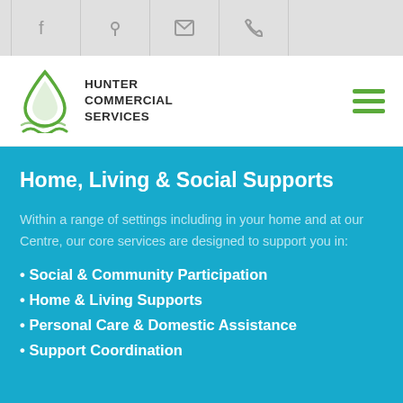[Figure (screenshot): Top navigation icon bar with Facebook, map pin, envelope, and phone icons on a light grey background]
[Figure (logo): Hunter Commercial Services logo with a green water drop and wave icon, bold dark text reading HUNTER COMMERCIAL SERVICES, and a green hamburger menu icon on the right]
Home, Living & Social Supports
Within a range of settings including in your home and at our Centre, our core services are designed to support you in:
Social & Community Participation
Home & Living Supports
Personal Care & Domestic Assistance
Support Coordination